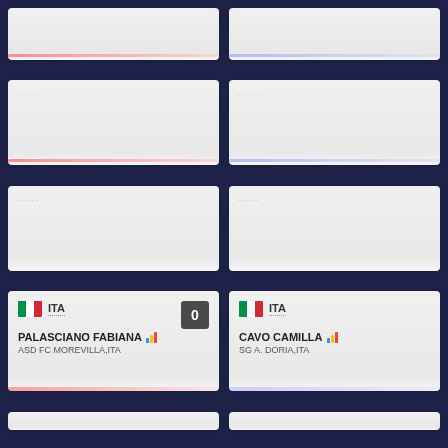[Figure (screenshot): Grid of athlete profile cards on dark navy background. Row 1: two partial cards. Row 2: two cards with dots indicator and red/blue bottom bars. Row 3: two cards with dots indicator. Row 4: two athlete cards - PALASCIANO FABIANA from ASD FC MOREVILLA,ITA with score 0, and CAVO CAMILLA from SG A. DORIA,ITA, both with Italian flags. Row 5: partial bottom cards.]